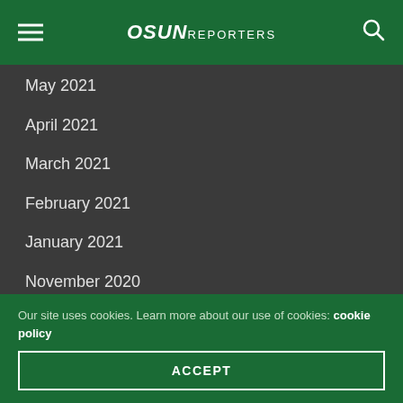OSUN REPORTERS
May 2021
April 2021
March 2021
February 2021
January 2021
November 2020
FOLLOW US
Our site uses cookies. Learn more about our use of cookies: cookie policy
ACCEPT